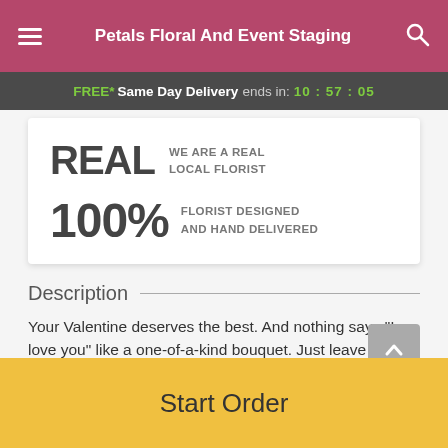Petals Floral And Event Staging
FREE* Same Day Delivery ends in: 10 : 57 : 05
REAL WE ARE A REAL LOCAL FLORIST
100% FLORIST DESIGNED AND HAND DELIVERED
Description
Your Valentine deserves the best. And nothing says "I love you" like a one-of-a-kind bouquet. Just leave it up to our florist to...
Start Order